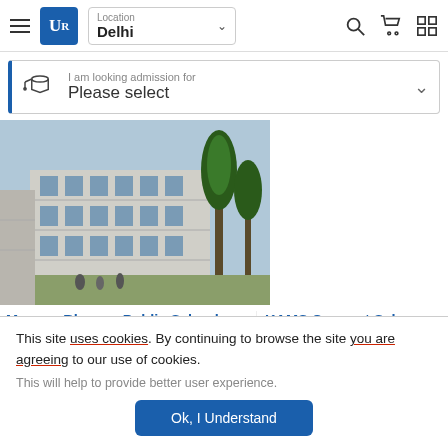[Figure (screenshot): Navigation bar with hamburger menu, UR logo, Delhi location selector, search, cart, and grid icons]
I am looking admission for
Please select
[Figure (photo): Photo of Manava Bhawna Public School building exterior with palm trees]
Manava Bhawna Public School, Nathupura, Burari, Delhi
KAMS Convent Sch Kadipur, Delhi
This site uses cookies. By continuing to browse the site you are agreeing to our use of cookies.
This will help to provide better user experience.
Ok, I Understand